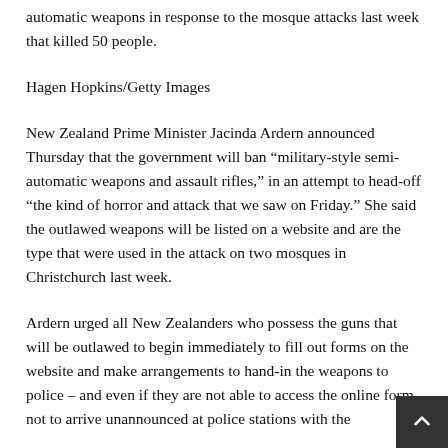automatic weapons in response to the mosque attacks last week that killed 50 people.
Hagen Hopkins/Getty Images
New Zealand Prime Minister Jacinda Ardern announced Thursday that the government will ban “military-style semi-automatic weapons and assault rifles,” in an attempt to head-off “the kind of horror and attack that we saw on Friday.” She said the outlawed weapons will be listed on a website and are the type that were used in the attack on two mosques in Christchurch last week.
Ardern urged all New Zealanders who possess the guns that will be outlawed to begin immediately to fill out forms on the website and make arrangements to hand-in the weapons to police – and even if they are not able to access the online form, not to arrive unannounced at police stations with the